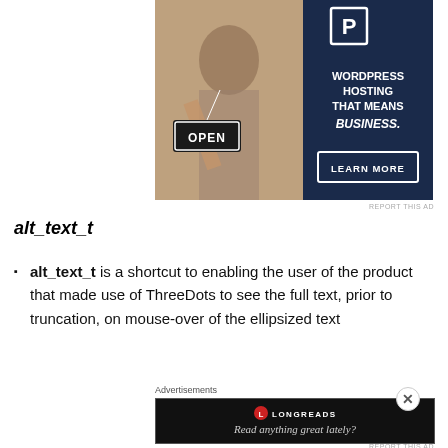[Figure (photo): Advertisement banner: Left side shows a photo of a woman holding an OPEN sign. Right side has dark navy background with WordPress Hosting That Means BUSINESS. text and a LEARN MORE button.]
REPORT THIS AD
alt_text_t
alt_text_t is a shortcut to enabling the user of the product that made use of ThreeDots to see the full text, prior to truncation, on mouse-over of the ellipsized text
Advertisements
[Figure (screenshot): Advertisement for Longreads: dark background with Longreads logo and text 'Read anything great lately?']
REPORT THIS AD